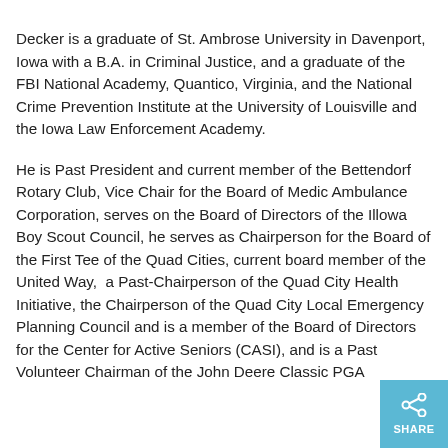Decker is a graduate of St. Ambrose University in Davenport, Iowa with a B.A. in Criminal Justice, and a graduate of the FBI National Academy, Quantico, Virginia, and the National Crime Prevention Institute at the University of Louisville and the Iowa Law Enforcement Academy.
He is Past President and current member of the Bettendorf Rotary Club, Vice Chair for the Board of Medic Ambulance Corporation, serves on the Board of Directors of the Illowa Boy Scout Council, he serves as Chairperson for the Board of the First Tee of the Quad Cities, current board member of the United Way, a Past-Chairperson of the Quad City Health Initiative, the Chairperson of the Quad City Local Emergency Planning Council and is a member of the Board of Directors for the Center for Active Seniors (CASI), and is a Past Volunteer Chairman of the John Deere Classic PGA